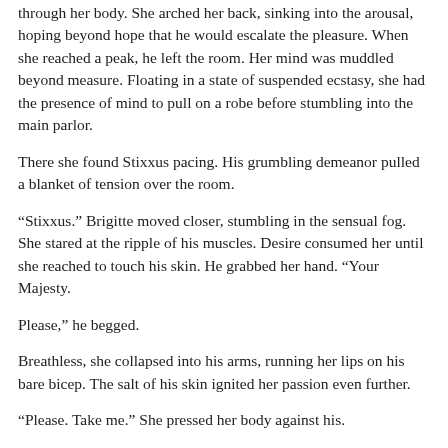through her body. She arched her back, sinking into the arousal, hoping beyond hope that he would escalate the pleasure. When she reached a peak, he left the room. Her mind was muddled beyond measure. Floating in a state of suspended ecstasy, she had the presence of mind to pull on a robe before stumbling into the main parlor.
There she found Stixxus pacing. His grumbling demeanor pulled a blanket of tension over the room.
“Stixxus.” Brigitte moved closer, stumbling in the sensual fog. She stared at the ripple of his muscles. Desire consumed her until she reached to touch his skin. He grabbed her hand. “Your Majesty.
Please,” he begged.
Breathless, she collapsed into his arms, running her lips on his bare bicep. The salt of his skin ignited her passion even further.
“Please. Take me.” She pressed her body against his.
He pushed her to arm’s length. Having seen the mixologist